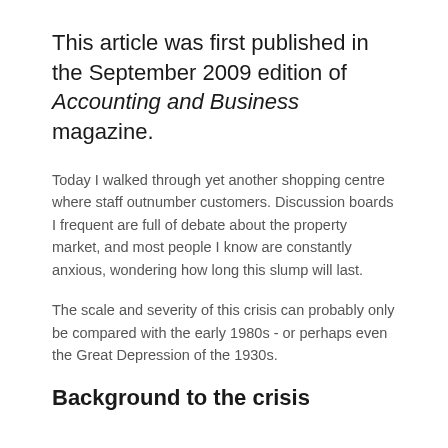This article was first published in the September 2009 edition of Accounting and Business magazine.
Today I walked through yet another shopping centre where staff outnumber customers. Discussion boards I frequent are full of debate about the property market, and most people I know are constantly anxious, wondering how long this slump will last.
The scale and severity of this crisis can probably only be compared with the early 1980s - or perhaps even the Great Depression of the 1930s.
Background to the crisis